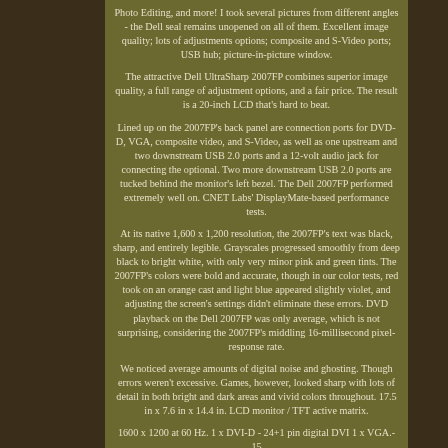Photo Editing, and more! I took several pictures from different angles - the Dell seal remains unopened on all of them. Excellent image quality; lots of adjustments options; composite and S-Video ports; USB hub; picture-in-picture window.
The attractive Dell UltraSharp 2007FP combines superior image quality, a full range of adjustment options, and a fair price. The result is a 20-inch LCD that's hard to beat.
Lined up on the 2007FP's back panel are connection ports for DVD-D, VGA, composite video, and S-Video, as well as one upstream and two downstream USB 2.0 ports and a 12-volt audio jack for connecting the optional. Two more downstream USB 2.0 ports are tucked behind the monitor's left bezel. The Dell 2007FP performed extremely well on. CNET Labs' DisplayMate-based performance tests.
At its native 1,600 x 1,200 resolution, the 2007FP's text was black, sharp, and entirely legible. Grayscales progressed smoothly from deep black to bright white, with only very minor pink and green tints. The 2007FP's colors were bold and accurate, though in our color tests, red took on an orange cast and light blue appeared slightly violet, and adjusting the screen's settings didn't eliminate these errors. DVD playback on the Dell 2007FP was only average, which is not surprising, considering the 2007FP's middling 16-millisecond pixel-response rate.
We noticed average amounts of digital noise and ghosting. Though errors weren't excessive. Games, however, looked sharp with lots of detail in both bright and dark areas and vivid colors throughout. 17.5 in x 7.6 in x 14.4 in. LCD monitor / TFT active matrix.
1600 x 1200 at 60 Hz. 1 x DVI-D - 24+1 pin digital DVI 1 x VGA.- 15